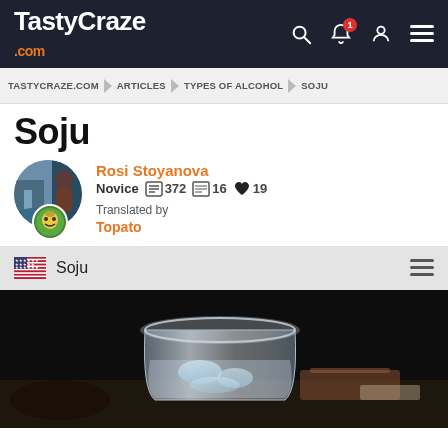TastyCraze.com
TASTYCRAZE.COM > ARTICLES > TYPES OF ALCOHOL > SOJU
Soju
Rosi Stoyanova — Novice — 372 — 16 — 19 — Translated by Topato
Soju
[Figure (photo): A glass of soju with ice on a dark background with food items]